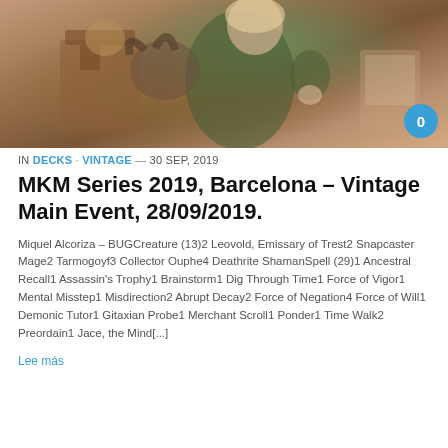[Figure (illustration): Fantasy illustration of a character in ornate clothing with a horned animal, set in a decorative interior with warm brown tones. A circular blue badge with '0' appears in the lower right.]
IN DECKS · VINTAGE — 30 SEP, 2019
MKM Series 2019, Barcelona – Vintage Main Event, 28/09/2019.
Miquel Alcoriza – BUGCreature (13)2 Leovold, Emissary of Trest2 Snapcaster Mage2 Tarmogoyf3 Collector Ouphe4 Deathrite ShamanSpell (29)1 Ancestral Recall1 Assassin's Trophy1 Brainstorm1 Dig Through Time1 Force of Vigor1 Mental Misstep1 Misdirection2 Abrupt Decay2 Force of Negation4 Force of Will1 Demonic Tutor1 Gitaxian Probe1 Merchant Scroll1 Ponder1 Time Walk2 Preordain1 Jace, the Mind[...]
Lee más